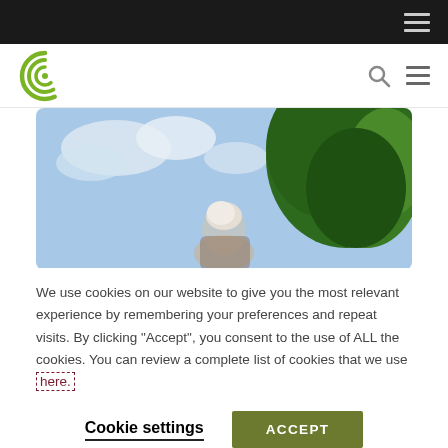[Navigation bar - dark]
[Figure (logo): Green spiral/concentric-C logo]
[Figure (photo): Outdoor photo showing an elderly person from behind with trees and sky background]
We use cookies on our website to give you the most relevant experience by remembering your preferences and repeat visits. By clicking "Accept", you consent to the use of ALL the cookies. You can review a complete list of cookies that we use here.
Cookie settings
ACCEPT